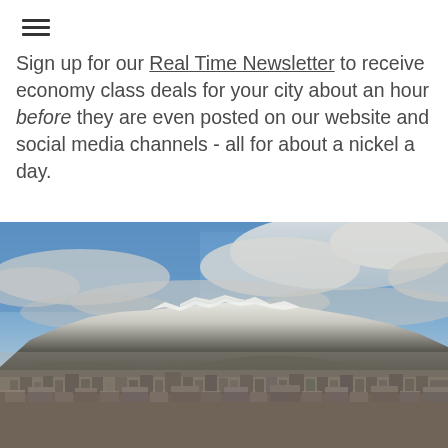≡
Sign up for our Real Time Newsletter to receive economy class deals for your city about an hour before they are even posted on our website and social media channels - all for about a nickel a day.
[Figure (photo): Aerial panoramic view of a large city with snow-capped mountains in the background under a partly cloudy sky — likely Santiago, Chile with the Andes mountains.]